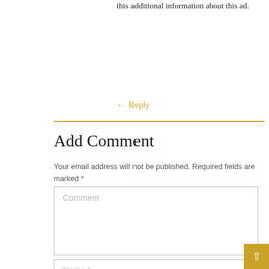this additional information about this ad.
← Reply
Add Comment
Your email address will not be published. Required fields are marked *
Comment
Name *